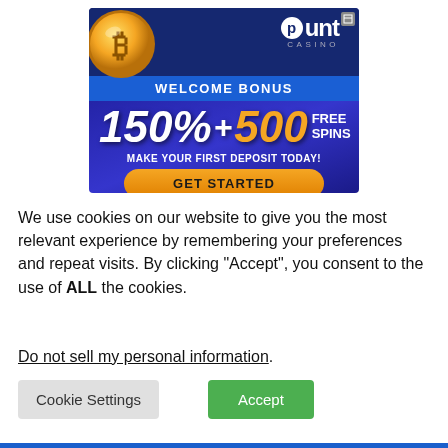[Figure (infographic): Punt Casino advertisement banner with bitcoin coin image, logo, 'WELCOME BONUS', '150% + 500 FREE SPINS', 'MAKE YOUR FIRST DEPOSIT TODAY!', and orange 'GET STARTED' button on dark blue/purple gradient background.]
We use cookies on our website to give you the most relevant experience by remembering your preferences and repeat visits. By clicking “Accept”, you consent to the use of ALL the cookies.
Do not sell my personal information.
Cookie Settings
Accept